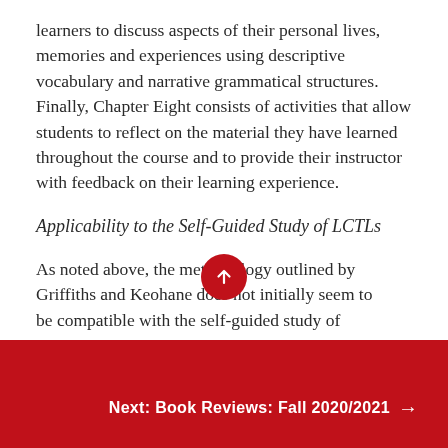learners to discuss aspects of their personal lives, memories and experiences using descriptive vocabulary and narrative grammatical structures. Finally, Chapter Eight consists of activities that allow students to reflect on the material they have learned throughout the course and to provide their instructor with feedback on their learning experience.
Applicability to the Self-Guided Study of LCTLs
As noted above, the methodology outlined by Griffiths and Keohane does not initially seem to be compatible with the self-guided study of
Next: Book Reviews: Fall 2020/2021 →